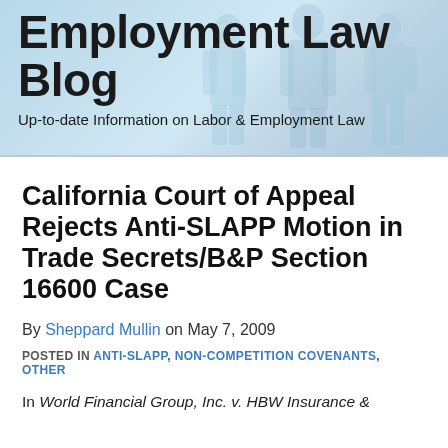[Figure (illustration): Employment Law Blog header banner with silhouetted business figures in light blue tones, with large bold title text 'Employment Law Blog' and subtitle 'Up-to-date Information on Labor & Employment Law']
California Court of Appeal Rejects Anti-SLAPP Motion in Trade Secrets/B&P Section 16600 Case
By Sheppard Mullin on May 7, 2009
POSTED IN ANTI-SLAPP, NON-COMPETITION COVENANTS, OTHER
In World Financial Group, Inc. v. HBW Insurance &